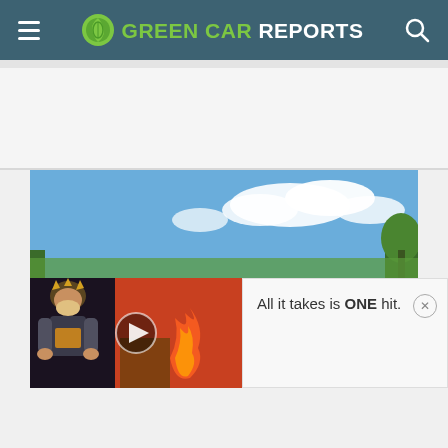Green Car Reports
[Figure (screenshot): Green Car Reports website screenshot showing header navigation bar with hamburger menu, Green Car Reports logo, and search icon on teal/dark blue background]
[Figure (photo): Outdoor photo showing blue sky with white clouds and trees]
[Figure (photo): Video thumbnail showing animated warrior character with play button overlay]
All it takes is ONE hit.
[Figure (other): Close button (x) circle icon for dismissing the notification]